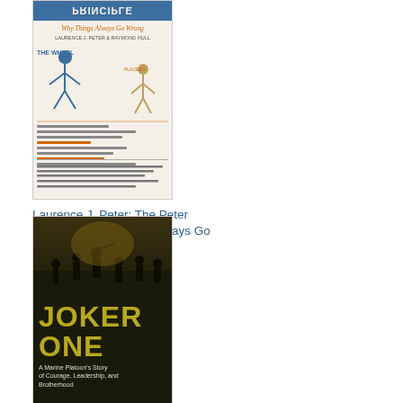[Figure (illustration): Book cover of 'The Peter Principle: Why Things Always Go Wrong' by Laurence J. Peter]
Laurence J. Peter: The Peter Principle: Why Things Always Go Wrong
[Figure (illustration): Book cover of 'Joker One: A Marine Platoon's Story of Courage, Leadership, and Brotherhood' by Donovan Campbell]
Donovan Campbell: Joker One: A Marine Platoon's Story of Courage, Leadership, and Brotherhood